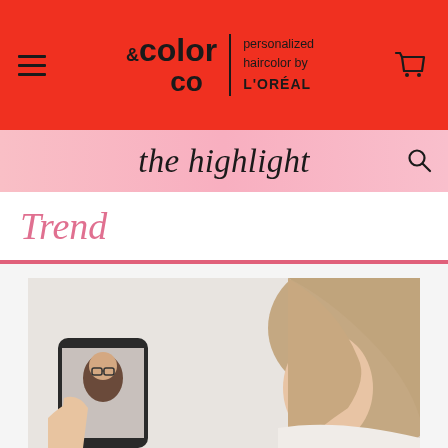& color co — personalized haircolor by L'ORÉAL
the highlight
Trend
[Figure (photo): A person holding a smartphone showing a video call with a woman with dark hair and glasses, while the person's own light brownish hair is visible in profile on the right side of the image. The background is light gray/white.]